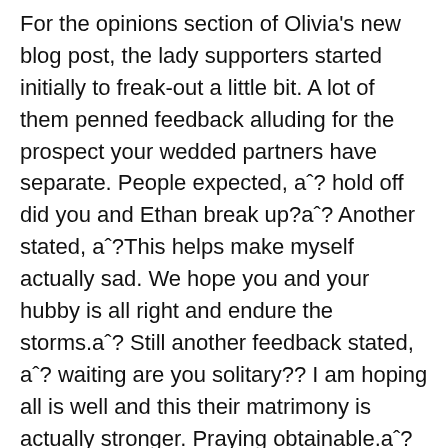For the opinions section of Olivia's new blog post, the lady supporters started initially to freak-out a little bit. A lot of them penned feedback alluding for the prospect your wedded partners have separate. People expected, aˆ? hold off did you and Ethan break up?aˆ? Another stated, aˆ?This helps make myself actually sad. We hope you and your hubby is all right and endure the storms.aˆ? Still another feedback stated, aˆ? waiting are you solitary?? I am hoping all is well and this their matrimony is actually stronger. Praying obtainable.aˆ?
Plenty of close responses poured in with worries about their commitment. Others just offered terms of support for Olivia. They discover the woman post is really sad, nevertheless has also been useful. It made her one of the lady many content.